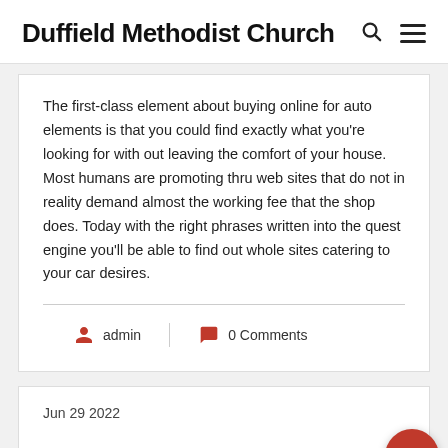Duffield Methodist Church
The first-class element about buying online for auto elements is that you could find exactly what you're looking for with out leaving the comfort of your house. Most humans are promoting thru web sites that do not in reality demand almost the working fee that the shop does. Today with the right phrases written into the quest engine you'll be able to find out whole sites catering to your car desires.
admin   0 Comments
Jun 29 2022